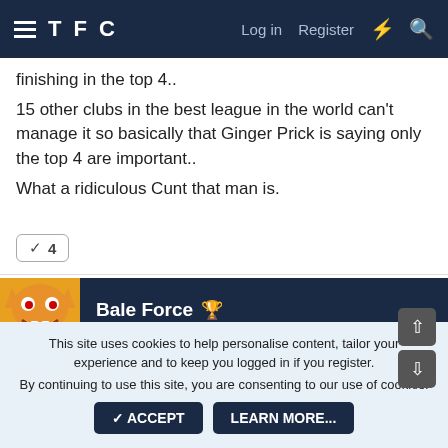TFC  Log in  Register
finishing in the top 4..
15 other clubs in the best league in the world can't manage it so basically that Ginger Prick is saying only the top 4 are important..
What a ridiculous Cunt that man is.
✓ 4
Bale Force 🏆
20 Mar 2014  #19
This site uses cookies to help personalise content, tailor your experience and to keep you logged in if you register.
By continuing to use this site, you are consenting to our use of cookies.
✓ ACCEPT   LEARN MORE...